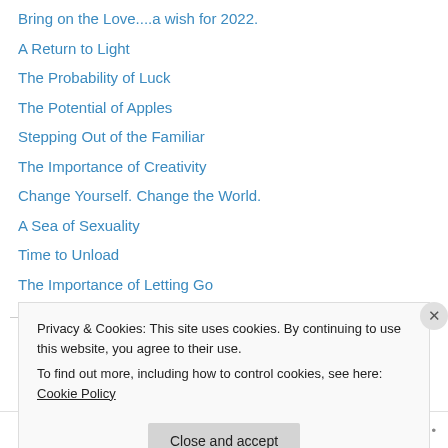Bring on the Love....a wish for 2022.
A Return to Light
The Probability of Luck
The Potential of Apples
Stepping Out of the Familiar
The Importance of Creativity
Change Yourself. Change the World.
A Sea of Sexuality
Time to Unload
The Importance of Letting Go
Archives
Privacy & Cookies: This site uses cookies. By continuing to use this website, you agree to their use.
To find out more, including how to control cookies, see here: Cookie Policy
Close and accept
Follow